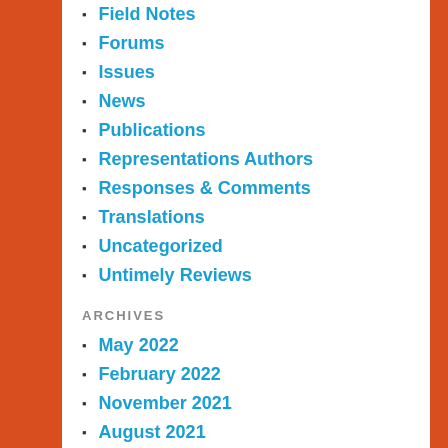Field Notes
Forums
Issues
News
Publications
Representations Authors
Responses & Comments
Translations
Uncategorized
Untimely Reviews
ARCHIVES
May 2022
February 2022
November 2021
August 2021
June 2021
May 2021
April 2021
March 2021
February 2021